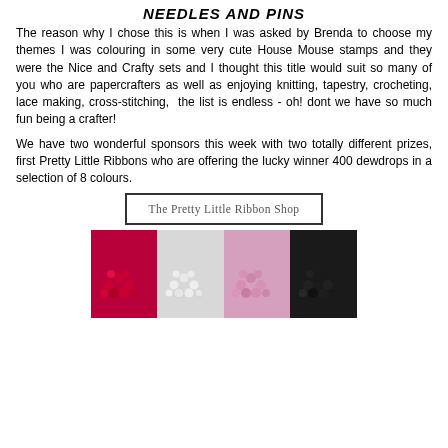NEEDLES AND PINS
The reason why I chose this is when I was asked by Brenda to choose my themes I was colouring in some very cute House Mouse stamps and they were the Nice and Crafty sets and I thought this title would suit so many of you who are papercrafters as well as enjoying knitting, tapestry, crocheting, lace making, cross-stitching,  the list is endless - oh! dont we have so much fun being a crafter!
We have two wonderful sponsors this week with two totally different prizes, first Pretty Little Ribbons who are offering the lucky winner 400 dewdrops in a selection of 8 colours.
[Figure (logo): The Pretty Little Ribbon Shop logo in a rectangular border]
[Figure (photo): Photo of coloured dewdrop beads in red, clear, pink, and black colours arranged in groups]